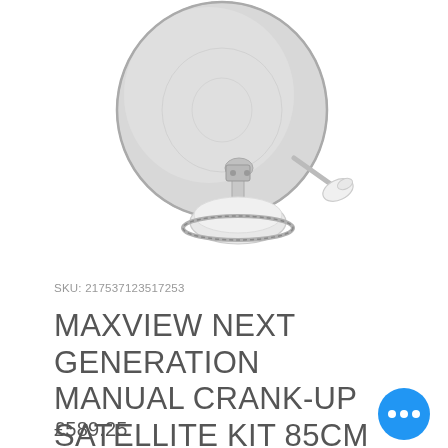[Figure (photo): Satellite dish product image — Maxview Next Generation Manual Crank-Up Satellite Kit 85cm, showing a grey parabolic dish mounted on a white motorized base with a chrome ring, with an LNB arm extending to the right]
SKU: 217537123517253
MAXVIEW NEXT GENERATION MANUAL CRANK-UP SATELLITE KIT 85CM
£589.25